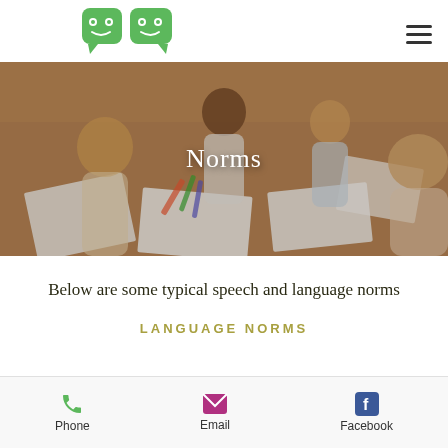[Figure (logo): Green speech bubble logo with two cartoon child faces]
[Figure (photo): Children sitting around a table drawing and writing, viewed from above, with text 'Norms' overlaid in white]
Below are some typical speech and language norms
LANGUAGE NORMS
Phone  Email  Facebook